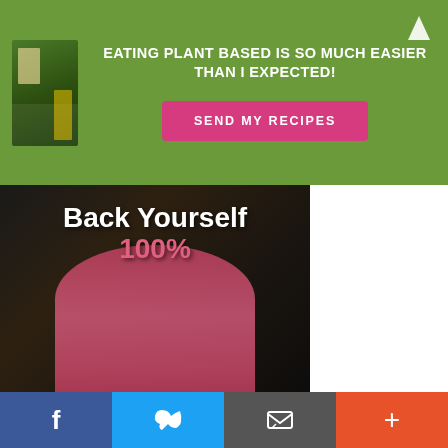[Figure (infographic): Green promotional banner with book image on left, bold white text 'EATING PLANT BASED IS SO MUCH EASIER THAN I EXPECTED!', pink 'SEND MY RECIPES' button, and white up-arrow icon top right]
[Figure (photo): Athletic woman from behind doing pull-ups in a gym, wearing a pink top, with overlaid text 'Back Yourself 100%' and Healthification branding bar at bottom]
As Brain Tracy says: Proper Prior Planning Prevents Poor
[Figure (infographic): Social sharing bar with Facebook (blue), Twitter (light blue), email (dark grey), and plus/share (orange-red) buttons]